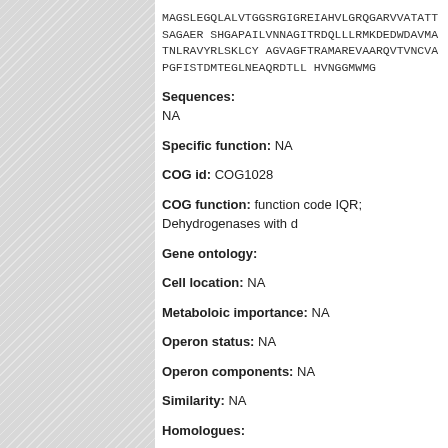MAGSLEGQLALVTGGSRGIGREIAHVLGRQGARVVATATTSAGAER SHGAPAILVNNAGITRDQLLLRMKDEDWDAVMATNLRAVYRLSKLC AGVAGFTRAMAREVAARQVTVNCVAPGFISTDMTEGLNEAQRDTLL HVNGGMWMG
Sequences: NA
Specific function: NA
COG id: COG1028
COG function: function code IQR; Dehydrogenases with d
Gene ontology:
Cell location: NA
Metaboloic importance: NA
Operon status: NA
Operon components: NA
Similarity: NA
Homologues: